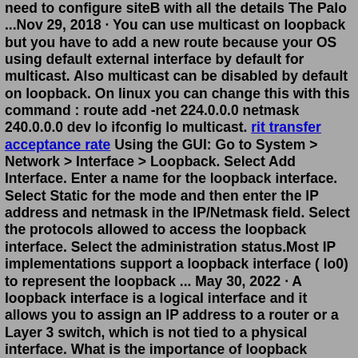need to configure siteB with all the details The Palo ...Nov 29, 2018 · You can use multicast on loopback but you have to add a new route because your OS using default external interface by default for multicast. Also multicast can be disabled by default on loopback. On linux you can change this with this command : route add -net 224.0.0.0 netmask 240.0.0.0 dev lo ifconfig lo multicast. rit transfer acceptance rate Using the GUI: Go to System > Network > Interface > Loopback. Select Add Interface. Enter a name for the loopback interface. Select Static for the mode and then enter the IP address and netmask in the IP/Netmask field. Select the protocols allowed to access the loopback interface. Select the administration status.Most IP implementations support a loopback interface ( lo0) to represent the loopback ... May 30, 2022 · A loopback interface is a logical interface and it allows you to assign an IP address to a router or a Layer 3 switch, which is not tied to a physical interface. What is the importance of loopback adapter? A loopback cable is also known as